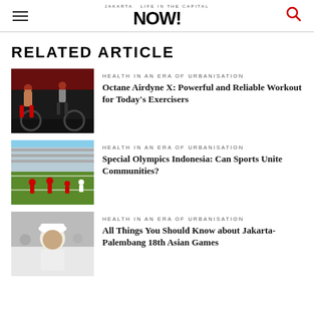Jakarta NOW!
RELATED ARTICLE
[Figure (photo): Two people exercising on Octane Airdyne X bikes in a gym]
HEALTH IN AN ERA OF URBANISATION
Octane Airdyne X: Powerful and Reliable Workout for Today's Exercisers
[Figure (photo): Athletes in red uniforms on a sports field during a competition]
HEALTH IN AN ERA OF URBANISATION
Special Olympics Indonesia: Can Sports Unite Communities?
[Figure (photo): Person in white hat at a sporting event]
HEALTH IN AN ERA OF URBANISATION
All Things You Should Know about Jakarta-Palembang 18th Asian Games